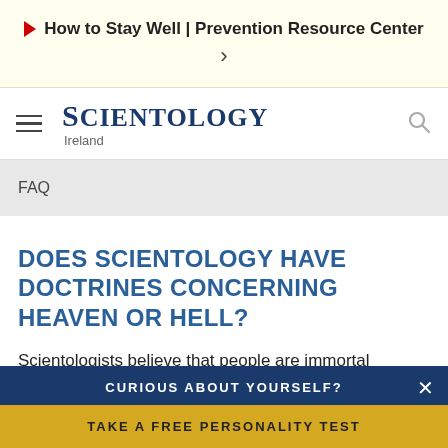▶ How to Stay Well | Prevention Resource Center >
SCIENTOLOGY Ireland
FAQ
DOES SCIENTOLOGY HAVE DOCTRINES CONCERNING HEAVEN OR HELL?
Scientologists believe that people are immortal spiritual beings who have lived before and who will live again, and
CURIOUS ABOUT YOURSELF?
TAKE A FREE PERSONALITY TEST